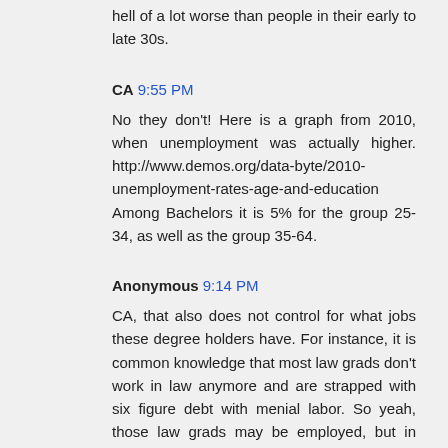hell of a lot worse than people in their early to late 30s.
CA 9:55 PM
No they don't! Here is a graph from 2010, when unemployment was actually higher. http://www.demos.org/data-byte/2010-unemployment-rates-age-and-education Among Bachelors it is 5% for the group 25-34, as well as the group 35-64.
Anonymous 9:14 PM
CA, that also does not control for what jobs these degree holders have. For instance, it is common knowledge that most law grads don't work in law anymore and are strapped with six figure debt with menial labor. So yeah, those law grads may be employed, but in what capacity and for what income? Higher ed is quickly becoming as